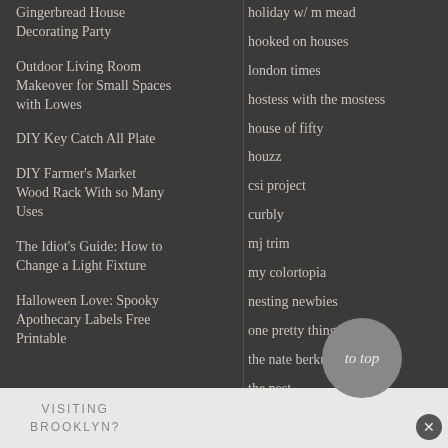Gingerbread House Decorating Party
Outdoor Living Room Makeover for Small Spaces with Lowes
DIY Key Catch All Plate
DIY Farmer's Market Wood Rack With so Many Uses
The Idiot's Guide: How to Change a Light Fixture
Halloween Love: Spooky Apothecary Labels Free Printable
holiday w/ m mead
hooked on houses
london times
hostess with the mostess
house of fifty
houzz
csi project
curbly
mj trim
my colortopia
nesting newbies
one pretty thing
the nate berkus show
the nest
today's creative blog
uncommon goods
woman's day
VISITING BROOKLYN?